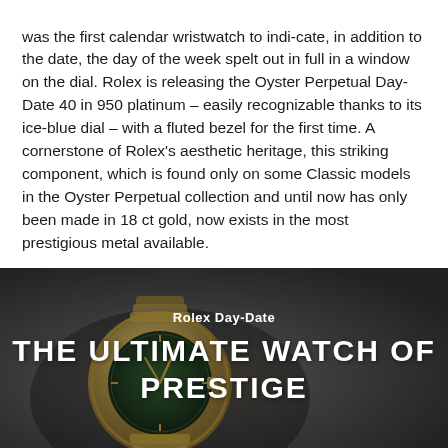was the first calendar wristwatch to indi-cate, in addition to the date, the day of the week spelt out in full in a window on the dial. Rolex is releasing the Oyster Perpetual Day-Date 40 in 950 platinum – easily recognizable thanks to its ice-blue dial – with a fluted bezel for the first time. A cornerstone of Rolex's aesthetic heritage, this striking component, which is found only on some Classic models in the Oyster Perpetual collection and until now has only been made in 18 ct gold, now exists in the most prestigious metal available.
[Figure (photo): A close-up photo of a Rolex Day-Date watch with a green dial and gold bracelet, with overlaid text reading 'Rolex Day-Date' and 'THE ULTIMATE WATCH OF PRESTIGE' in white letters on a dark, moody background.]